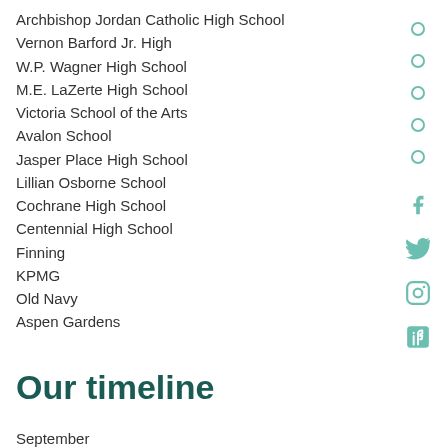Archbishop Jordan Catholic High School
Vernon Barford Jr. High
W.P. Wagner High School
M.E. LaZerte High School
Victoria School of the Arts
Avalon School
Jasper Place High School
Lillian Osborne School
Cochrane High School
Centennial High School
Finning
KPMG
Old Navy
Aspen Gardens
Our timeline
September